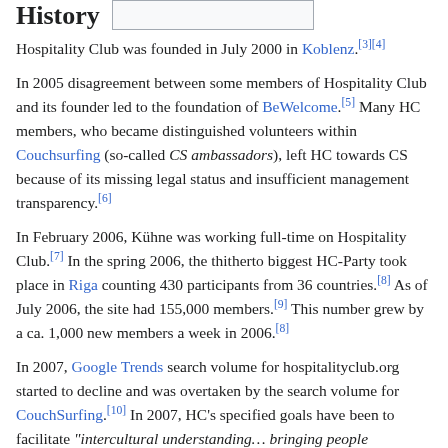History
Hospitality Club was founded in July 2000 in Koblenz.[3][4]
In 2005 disagreement between some members of Hospitality Club and its founder led to the foundation of BeWelcome.[5] Many HC members, who became distinguished volunteers within Couchsurfing (so-called CS ambassadors), left HC towards CS because of its missing legal status and insufficient management transparency.[6]
In February 2006, Kühne was working full-time on Hospitality Club.[7] In the spring 2006, the thitherto biggest HC-Party took place in Riga counting 430 participants from 36 countries.[8] As of July 2006, the site had 155,000 members.[9] This number grew by a ca. 1,000 new members a week in 2006.[8]
In 2007, Google Trends search volume for hospitalityclub.org started to decline and was overtaken by the search volume for CouchSurfing.[10] In 2007, HC's specified goals have been to facilitate "intercultural understanding... bringing people